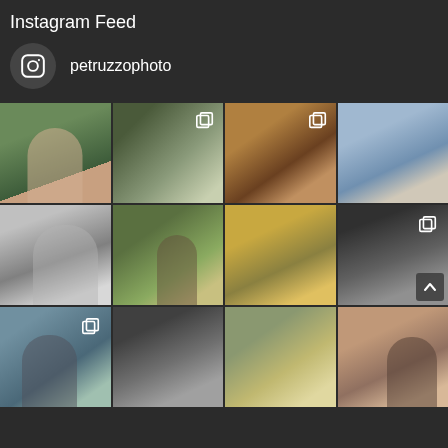Instagram Feed
petruzzophoto
[Figure (photo): Instagram photo grid for petruzzophoto showing 12 photos: man portrait, two dogs, family wrapped in blankets, couple, mother with children in B&W, woman in park, golden retriever, woman with dog in B&W, group of boys outdoors, two boys, family seated, newborn with mother]